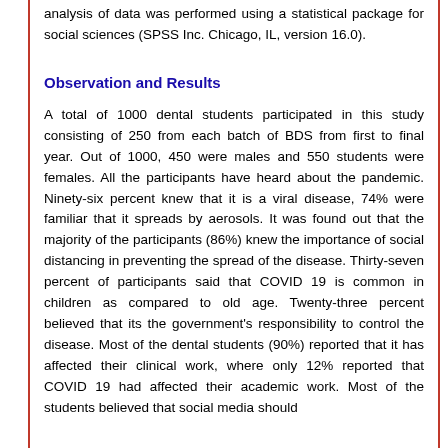analysis of data was performed using a statistical package for social sciences (SPSS Inc. Chicago, IL, version 16.0).
Observation and Results
A total of 1000 dental students participated in this study consisting of 250 from each batch of BDS from first to final year. Out of 1000, 450 were males and 550 students were females. All the participants have heard about the pandemic. Ninety-six percent knew that it is a viral disease, 74% were familiar that it spreads by aerosols. It was found out that the majority of the participants (86%) knew the importance of social distancing in preventing the spread of the disease. Thirty-seven percent of participants said that COVID 19 is common in children as compared to old age. Twenty-three percent believed that its the government's responsibility to control the disease. Most of the dental students (90%) reported that it has affected their clinical work, where only 12% reported that COVID 19 had affected their academic work. Most of the students believed that social media should